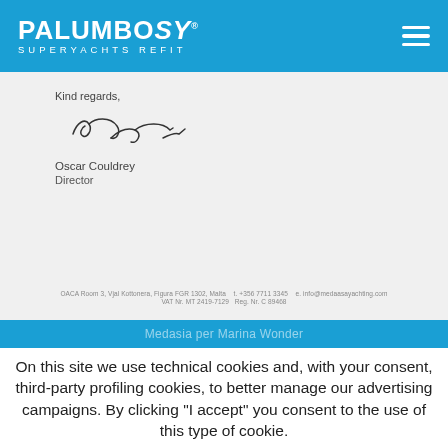PALUMBO SY SUPERYACHTS REFIT
[Figure (screenshot): Scanned letter closing section with handwritten signature. 'Kind regards,' followed by signature, then 'Oscar Couldrey' and 'Director'. Footer info: OACA Room 3, Vjal Kottonera, Figura FGR 1302, Malta  t. +356 7711 3345  e. info@medaasayachting.com  VAT Nr. MT 2419-7129  Reg. Nr. C 89468]
Medasia per Marina Wonder
On this site we use technical cookies and, with your consent, third-party profiling cookies, to better manage our advertising campaigns. By clicking "I accept" you consent to the use of this type of cookie.
Accept . To learn more and opt out of certain types of cookies, go to Privacy & cookie Policy